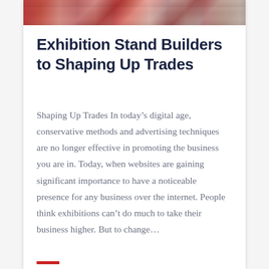[Figure (photo): Photo strip at top of page showing crowd or people at an exhibition/trade event, partially cropped]
Exhibition Stand Builders to Shaping Up Trades
Shaping Up Trades In today’s digital age, conservative methods and advertising techniques are no longer effective in promoting the business you are in. Today, when websites are gaining significant importance to have a noticeable presence for any business over the internet. People think exhibitions can’t do much to take their business higher. But to change…